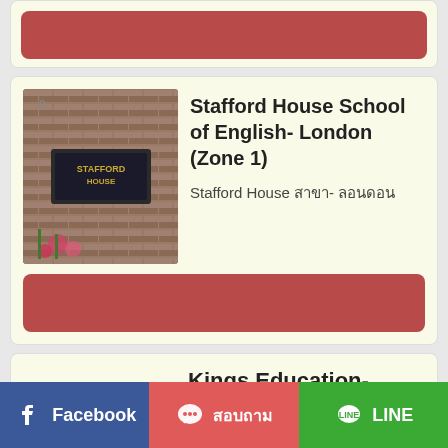[Figure (other): Partial card with red button at top of page, continuing from previous page]
Stafford House School of English- London (Zone 1)
Stafford House สาขา- ลอนดอน
[Figure (photo): Photo of a brick building exterior with a sign reading Stafford House]
Kings Education- London (Zone 4)
คิงส์เอดูเคชั่น- ลอนดอน
Facebook  สอบถาม  LINE